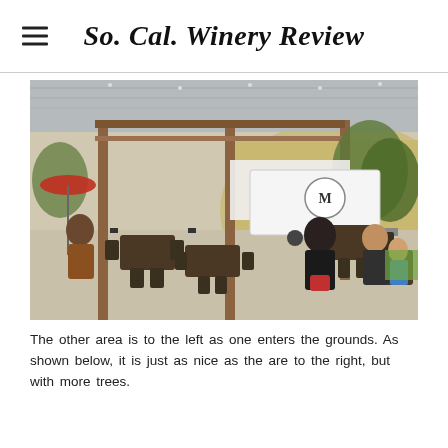So. Cal. Winery Review
[Figure (photo): Outdoor winery patio area with shade structure/canopy, metal tables and chairs, food truck trailer with 'M' logo, trees in background, people dining and socializing on a sunny day.]
The other area is to the left as one enters the grounds. As shown below, it is just as nice as the are to the right, but with more trees.